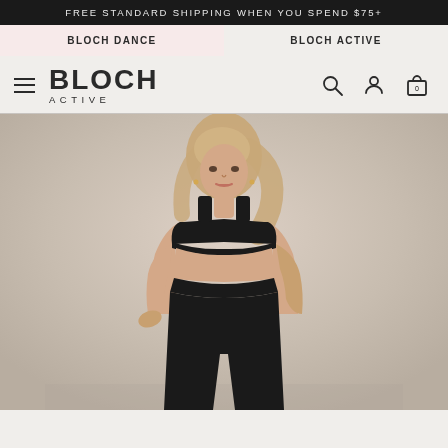FREE STANDARD SHIPPING WHEN YOU SPEND $75+
BLOCH DANCE
BLOCH ACTIVE
BLOCH ACTIVE
[Figure (photo): Woman wearing black sports bra crop top and black bike shorts, standing with hand on hip against a beige/taupe background. Bloch Active activewear product photo.]